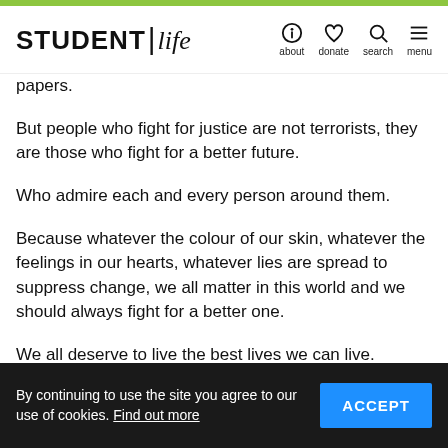STUDENT Life | about donate search menu
papers.
But people who fight for justice are not terrorists, they are those who fight for a better future.
Who admire each and every person around them.
Because whatever the colour of our skin, whatever the feelings in our hearts, whatever lies are spread to suppress change, we all matter in this world and we should always fight for a better one.
We all deserve to live the best lives we can live.
And we should use every ounce of our beings to both
By continuing to use the site you agree to our use of cookies. Find out more